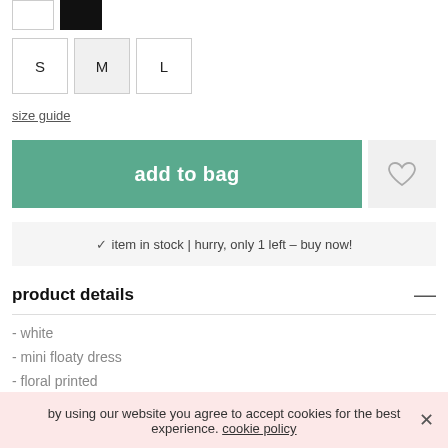[Figure (other): Two color swatches: white and black]
S
M
L
size guide
add to bag
✓ item in stock | hurry, only 1 left – buy now!
product details
- white
- mini floaty dress
- floral printed
- square neckline
by using our website you agree to accept cookies for the best experience. cookie policy